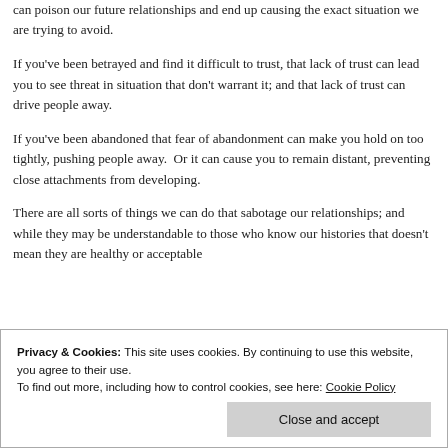can poison our future relationships and end up causing the exact situation we are trying to avoid.
If you've been betrayed and find it difficult to trust, that lack of trust can lead you to see threat in situation that don't warrant it; and that lack of trust can drive people away.
If you've been abandoned that fear of abandonment can make you hold on too tightly, pushing people away.  Or it can cause you to remain distant, preventing close attachments from developing.
There are all sorts of things we can do that sabotage our relationships; and while they may be understandable to those who know our histories that doesn't mean they are healthy or acceptable
Privacy & Cookies: This site uses cookies. By continuing to use this website, you agree to their use.
To find out more, including how to control cookies, see here: Cookie Policy
Close and accept